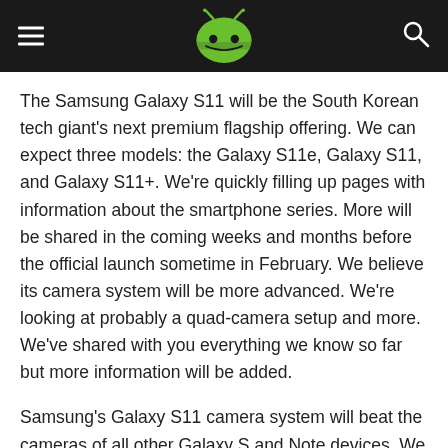[AndroidHeadlines logo]
The Samsung Galaxy S11 will be the South Korean tech giant's next premium flagship offering. We can expect three models: the Galaxy S11e, Galaxy S11, and Galaxy S11+. We're quickly filling up pages with information about the smartphone series. More will be shared in the coming weeks and months before the official launch sometime in February. We believe its camera system will be more advanced. We're looking at probably a quad-camera setup and more. We've shared with you everything we know so far but more information will be added.
Samsung's Galaxy S11 camera system will beat the cameras of all other Galaxy S and Note devices. We know it will include a Bright Night Sensor, laser auto-focus, 108MP photos courtesy of a 108MP cam, and a